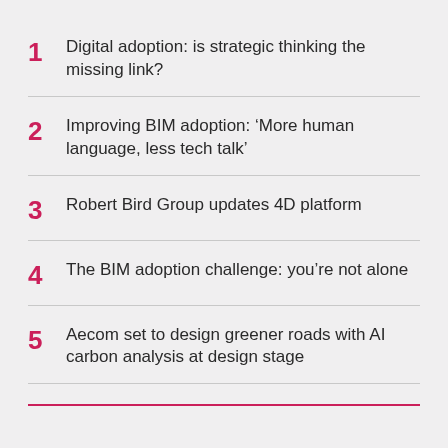1  Digital adoption: is strategic thinking the missing link?
2  Improving BIM adoption: ‘More human language, less tech talk’
3  Robert Bird Group updates 4D platform
4  The BIM adoption challenge: you’re not alone
5  Aecom set to design greener roads with AI carbon analysis at design stage